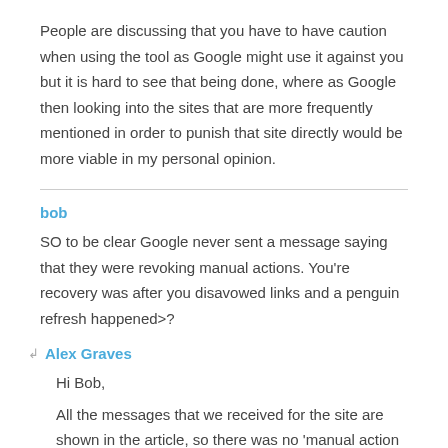People are discussing that you have to have caution when using the tool as Google might use it against you but it is hard to see that being done, where as Google then looking into the sites that are more frequently mentioned in order to punish that site directly would be more viable in my personal opinion.
bob
SO to be clear Google never sent a message saying that they were revoking manual actions. You're recovery was after you disavowed links and a penguin refresh happened>?
Alex Graves
Hi Bob,
All the messages that we received for the site are shown in the article, so there was no 'manual action revoked' message.